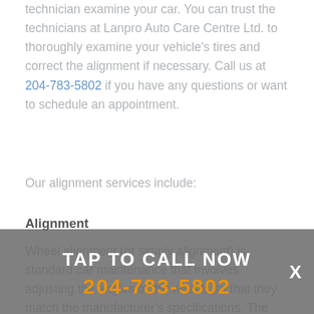technician examine your car. You can trust the technicians at Lanpro Auto Care Centre Ltd. to thoroughly examine your vehicle's tires and correct the alignment if necessary. Call us at 204-783-5802 if you have any questions or want to schedule an appointment.
Our alignment services include:
Alignment
Wheel alignment (or simply alignment) is standard car maintenance that involves adjusting the angles of the wheels so that they match the manufacturer's specifications. The main purpose is to let the suspension and the steering systems operate at their desired angles - this reduces tire
[Figure (infographic): Tap to call overlay banner with white text 'TAP TO CALL NOW' and orange phone number '204-783-5802' on a semi-transparent grey background, with a white X close button on the right.]